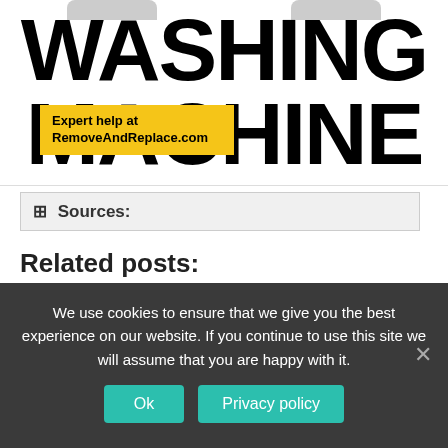[Figure (illustration): Book or article cover image showing the large bold text WASHING MACHINE with a yellow badge reading 'Expert help at RemoveAndReplace.com' overlaid on the left portion of the MACHINE text.]
+ Sources:
Related posts:
Knocks out plugs when turning on the washing machine
How to wash towels in a washing machine
We use cookies to ensure that we give you the best experience on our website. If you continue to use this site we will assume that you are happy with it.
Ok
Privacy policy